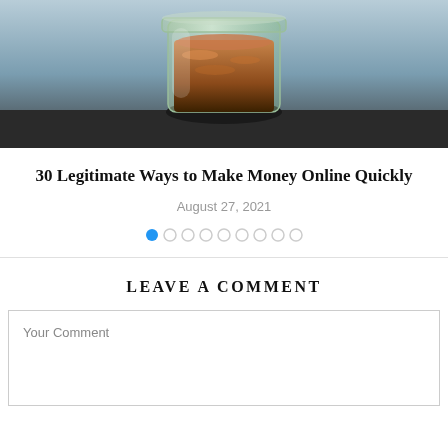[Figure (photo): A glass jar filled with coins (pennies/copper coins) on a dark surface with a blurred background]
30 Legitimate Ways to Make Money Online Quickly
August 27, 2021
[Figure (infographic): Pagination dots: one filled blue dot followed by nine empty circle dots]
LEAVE A COMMENT
Your Comment